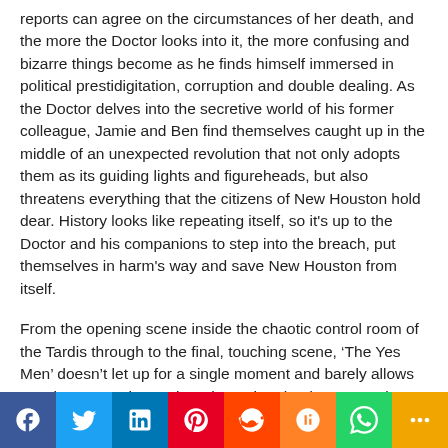reports can agree on the circumstances of her death, and the more the Doctor looks into it, the more confusing and bizarre things become as he finds himself immersed in political prestidigitation, corruption and double dealing. As the Doctor delves into the secretive world of his former colleague, Jamie and Ben find themselves caught up in the middle of an unexpected revolution that not only adopts them as its guiding lights and figureheads, but also threatens everything that the citizens of New Houston hold dear. History looks like repeating itself, so it's up to the Doctor and his companions to step into the breach, put themselves in harm's way and save New Houston from itself.
From the opening scene inside the chaotic control room of the Tardis through to the final, touching scene, ‘The Yes Men’ doesn’t let up for a single moment and barely allows you time to catch your breath, as the plot drags you along at a staggering pace. Questioning ideas of artificial intelligence, the concept of individuality and notions of equality, while making fun of the
[Figure (other): Social sharing bar with icons for Facebook, Twitter, LinkedIn, Pinterest, Reddit, Mix, WhatsApp, and More]